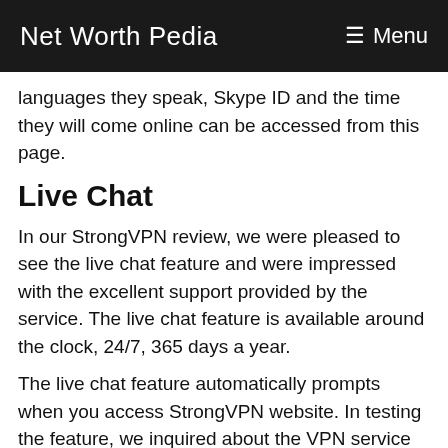Net Worth Pedia  ☰ Menu
languages they speak, Skype ID and the time they will come online can be accessed from this page.
Live Chat
In our StrongVPN review, we were pleased to see the live chat feature and were impressed with the excellent support provided by the service. The live chat feature is available around the clock, 24/7, 365 days a year.
The live chat feature automatically prompts when you access StrongVPN website. In testing the feature, we inquired about the VPN service and it's affect on streaming